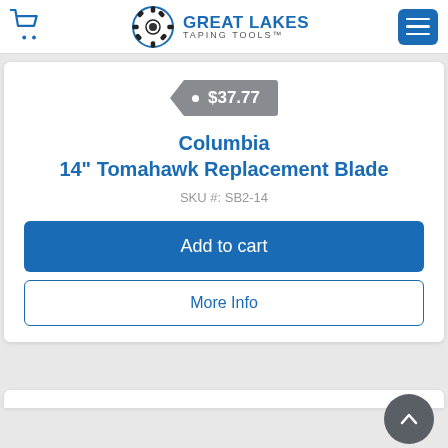Great Lakes Taping Tools
$37.77
Columbia 14" Tomahawk Replacement Blade
SKU #: SB2-14
Add to cart
More Info